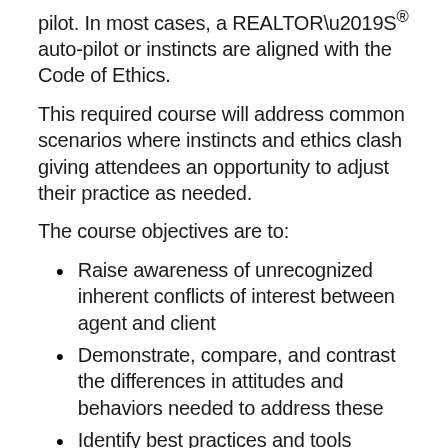pilot. In most cases, a REALTOR’S® auto-pilot or instincts are aligned with the Code of Ethics.
This required course will address common scenarios where instincts and ethics clash giving attendees an opportunity to adjust their practice as needed.
The course objectives are to:
Raise awareness of unrecognized inherent conflicts of interest between agent and client
Demonstrate, compare, and contrast the differences in attitudes and behaviors needed to address these
Identify best practices and tools available to make corrections and work professionally, legally & ethically
While the scenarios chosen are specific, the overarching objective is to encourage